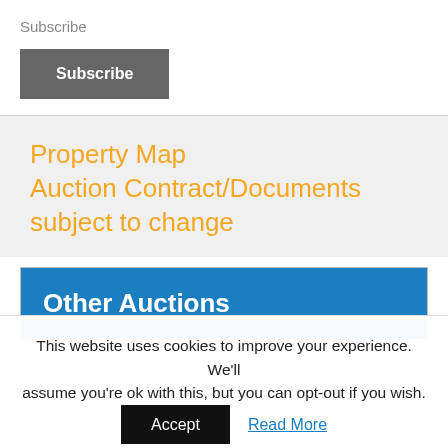×
Subscribe
Subscribe
Property Map
Auction Contract/Documents
subject to change
Other Auctions
This website uses cookies to improve your experience. We'll assume you're ok with this, but you can opt-out if you wish.
Accept
Read More